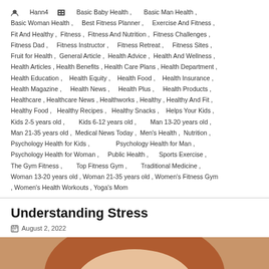Hann4  Basic Baby Health , Basic Man Health , Basic Woman Health , Best Fitness Planner , Exercise And Fitness , Fit And Healthy , Fitness , Fitness And Nutrition , Fitness Challenges , Fitness Dad , Fitness Instructor , Fitness Retreat , Fitness Sites , Fruit for Health , General Article , Health Advice , Health And Wellness , Health Articles , Health Benefits , Health Care Plans , Health Department , Health Education , Health Equity , Health Food , Health Insurance , Health Magazine , Health News , Health Plus , Health Products , Healthcare , Healthcare News , Healthworks , Healthy , Healthy And Fit , Healthy Food , Healthy Recipes , Healthy Snacks , Helps Your Kids , Kids 2-5 years old , Kids 6-12 years old , Man 13-20 years old , Man 21-35 years old , Medical News Today , Men's Health , Nutrition , Psychology Health for Kids , Psychology Health for Man , Psychology Health for Woman , Public Health , Sports Exercise , The Gym Fitness , Top Fitness Gym , Traditional Medicine , Woman 13-20 years old , Woman 21-35 years old , Women's Fitness Gym , Women's Health Workouts , Yoga's Mom
Understanding Stress
August 2, 2022
[Figure (photo): Close-up photo of a young woman with auburn hair looking stressed or worried, forehead visible with slight frown lines, photographed from above the eyes down.]